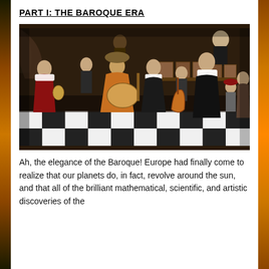PART I:  THE BAROQUE ERA
[Figure (photo): A Baroque-era painting depicting a family musical gathering in an interior room with a checkered black-and-white tile floor. Multiple figures in period dress play instruments including lute, cello, and other string instruments. A standing man in black with a white collar stands prominently, and a small child in a red hat appears at right.]
Ah, the elegance of the Baroque! Europe had finally come to realize that our planets do, in fact, revolve around the sun, and that all of the brilliant mathematical, scientific, and artistic discoveries of the